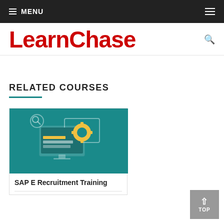MENU
LearnChase
RELATED COURSES
[Figure (illustration): SAP E Recruitment Training course thumbnail with teal background showing computer screens and gear icon]
SAP E Recruitment Training